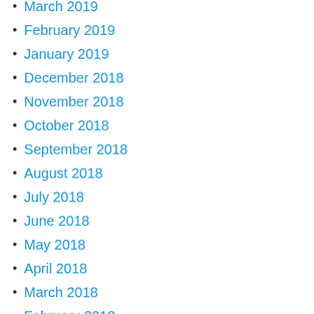March 2019
February 2019
January 2019
December 2018
November 2018
October 2018
September 2018
August 2018
July 2018
June 2018
May 2018
April 2018
March 2018
February 2018
January 2018
December 2017